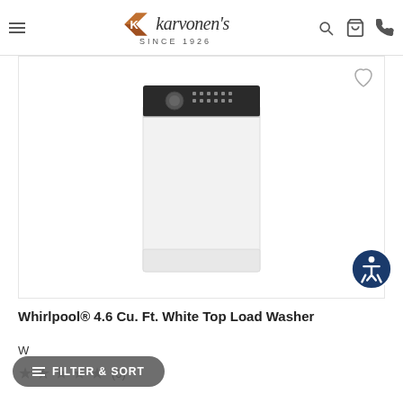Karvonen's Since 1926
[Figure (photo): White top load washing machine with dark control panel on top, shown from front angle on white background]
Whirlpool® 4.6 Cu. Ft. White Top Load Washer
W
★★★★★ (0)